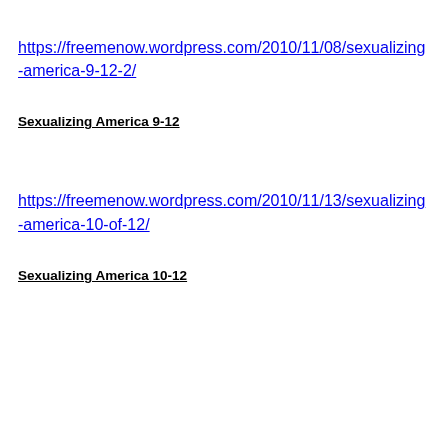https://freemenow.wordpress.com/2010/11/08/sexualizing-america-9-12-2/
Sexualizing America 9-12
https://freemenow.wordpress.com/2010/11/13/sexualizing-america-10-of-12/
Sexualizing America 10-12